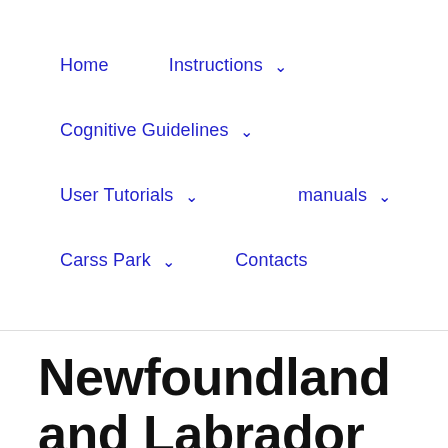Home    Instructions ∨    Cognitive Guidelines ∨    User Tutorials ∨    manuals ∨    Carss Park ∨    Contacts
Newfoundland and Labrador